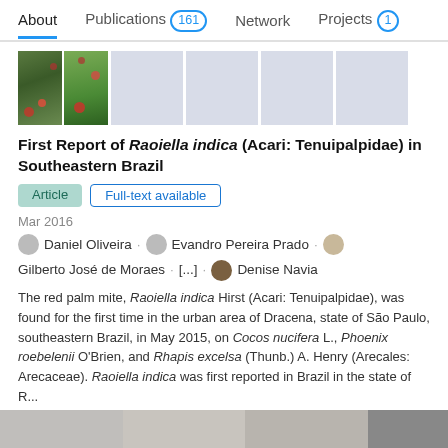About   Publications 161   Network   Projects 1
[Figure (photo): Two small nature photos side by side showing plants/insects with red mites, followed by four light gray placeholder image tiles]
First Report of Raoiella indica (Acari: Tenuipalpidae) in Southeastern Brazil
Article   Full-text available
Mar 2016
Daniel Oliveira · Evandro Pereira Prado · Gilberto José de Moraes · [...] · Denise Navia
The red palm mite, Raoiella indica Hirst (Acari: Tenuipalpidae), was found for the first time in the urban area of Dracena, state of São Paulo, southeastern Brazil, in May 2015, on Cocos nucifera L., Phoenix roebelenii O'Brien, and Rhapis excelsa (Thunb.) A. Henry (Arecales: Arecaceae). Raoiella indica was first reported in Brazil in the state of R...
View